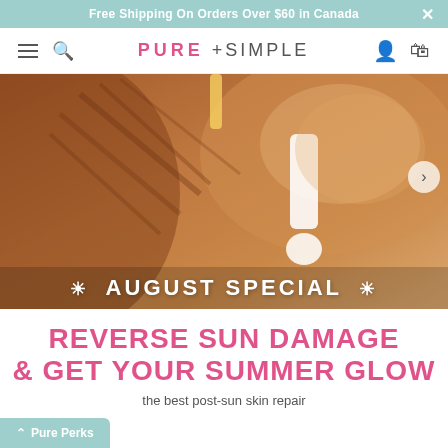Free Shipping On Orders Over $60 in Canada
PURE + SIMPLE
[Figure (photo): Close-up photo of a person's bare back and shoulder with sunscreen applied in an exclamation mark pattern on tanned skin, with leaf shadows cast across the upper back.]
☀ AUGUST SPECIAL ☀
REVERSE SUN DAMAGE & GET YOUR SUMMER GLOW
the best post-sun skin repair